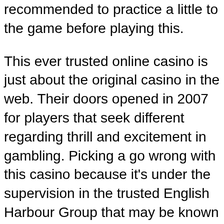recommended to practice a little to the game before playing this.
This ever trusted online casino is just about the original casino in the web. Their doors opened in 2007 for players that seek different regarding thrill and excitement in gambling. Picking a go wrong with this casino because it’s under the supervision in the trusted English Harbour Group that may be known of holding and operating top online casinos. And with it, Caribbean Gold Casino is applying the ever reliable Vegas Technology. Providing players ‘close to actual goal thing’ discovery.
You should actually discover which online casino is classified among the best individuals. If that is done, pause to look for probably be settled additionally will see it making frequently of sense